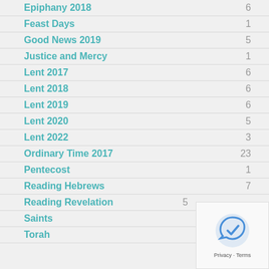Epiphany 2018 · 6
Feast Days · 1
Good News 2019 · 5
Justice and Mercy · 1
Lent 2017 · 6
Lent 2018 · 6
Lent 2019 · 6
Lent 2020 · 5
Lent 2022 · 3
Ordinary Time 2017 · 23
Pentecost · 1
Reading Hebrews · 7
Reading Revelation · 5
Saints
Torah · 2